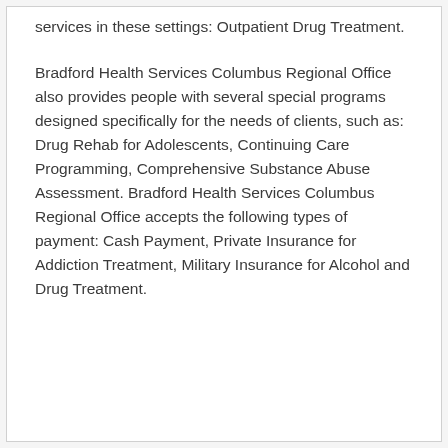services in these settings: Outpatient Drug Treatment.
Bradford Health Services Columbus Regional Office also provides people with several special programs designed specifically for the needs of clients, such as: Drug Rehab for Adolescents, Continuing Care Programming, Comprehensive Substance Abuse Assessment. Bradford Health Services Columbus Regional Office accepts the following types of payment: Cash Payment, Private Insurance for Addiction Treatment, Military Insurance for Alcohol and Drug Treatment.